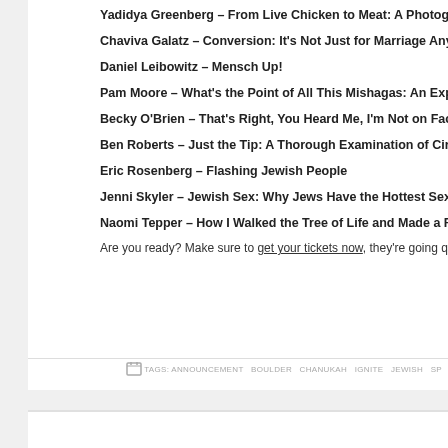Yadidya Greenberg – From Live Chicken to Meat: A Photographic Journ…
Chaviva Galatz – Conversion: It's Not Just for Marriage Anymore
Daniel Leibowitz – Mensch Up!
Pam Moore – What's the Point of All This Mishagas: An Explanation of t…
Becky O'Brien – That's Right, You Heard Me, I'm Not on Facebook
Ben Roberts – Just the Tip: A Thorough Examination of Circumcision
Eric Rosenberg – Flashing Jewish People
Jenni Skyler – Jewish Sex: Why Jews Have the Hottest Sex Lives
Naomi Tepper – How I Walked the Tree of Life and Made a Fortune in Er…
Are you ready? Make sure to get your tickets now, they're going quick!
TAGS: ANNOUNCEMENT  BOULDER  CHANUKAH  IGNITE  JEWISH  SP…